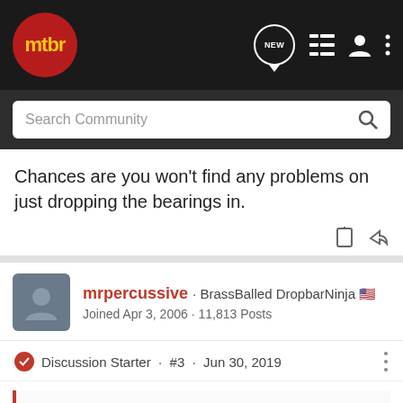[Figure (screenshot): MTBR forum website navigation bar with logo, search bar, and icons]
Chances are you won't find any problems on just dropping the bearings in.
mrpercussive · BrassBalled DropbarNinja 🇺🇸
Joined Apr 3, 2006 · 11,813 Posts
Discussion Starter · #3 · Jun 30, 2019
Aglo said:
Just check the bearings sizes and compare to the old bearings.
Chances are you won't find any problems on just dropping the bearings in.